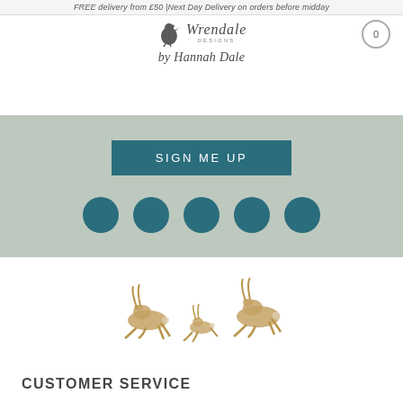FREE delivery from £50 |Next Day Delivery on orders before midday
[Figure (logo): Wrendale Designs by Hannah Dale logo with bird silhouette]
[Figure (other): Cart icon showing 0 items]
SIGN ME UP
[Figure (illustration): Five teal circular dots/buttons in a row on sage green background]
[Figure (illustration): Watercolour illustration of running hares]
CUSTOMER SERVICE